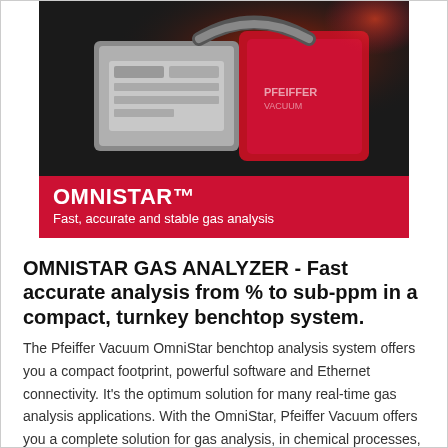[Figure (photo): Photo of the OmniStar gas analyzer device — a red and silver/grey compact instrument with a curved handle, lit by red light against a dark background.]
OMNISTAR™
Fast, accurate and stable gas analysis
OMNISTAR GAS ANALYZER - Fast accurate analysis from % to sub-ppm in a compact, turnkey benchtop system.
The Pfeiffer Vacuum OmniStar benchtop analysis system offers you a compact footprint, powerful software and Ethernet connectivity. It's the optimum solution for many real-time gas analysis applications. With the OmniStar, Pfeiffer Vacuum offers you a complete solution for gas analysis, in chemical processes, semiconductor industry, metallurgy,